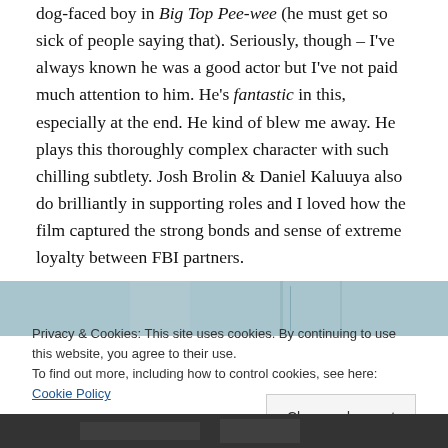dog-faced boy in Big Top Pee-wee (he must get so sick of people saying that). Seriously, though – I've always known he was a good actor but I've not paid much attention to him. He's fantastic in this, especially at the end. He kind of blew me away. He plays this thoroughly complex character with such chilling subtlety. Josh Brolin & Daniel Kaluuya also do brilliantly in supporting roles and I loved how the film captured the strong bonds and sense of extreme loyalty between FBI partners.
[Figure (photo): Partial photograph visible behind cookie consent banner, showing a blurred outdoor scene.]
Privacy & Cookies: This site uses cookies. By continuing to use this website, you agree to their use.
To find out more, including how to control cookies, see here: Cookie Policy
Close and accept
[Figure (photo): Partial photograph at the bottom of the page showing a dark scene.]